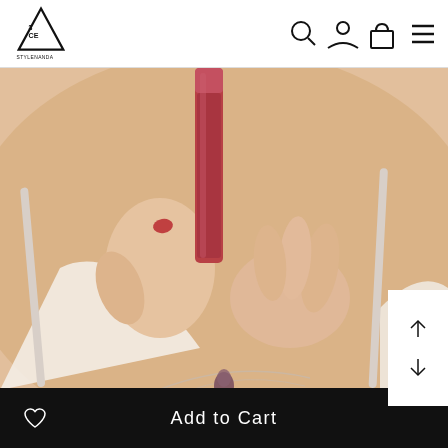3CE STYLENANDA
[Figure (photo): Close-up photo of a woman's hands holding a red/rose-colored lipstick tube near her chest. She is wearing a white camisole top and has a decorative necklace with a pendant. Her nails are painted red/coral. The background is warm beige/skin tone.]
Add to Cart